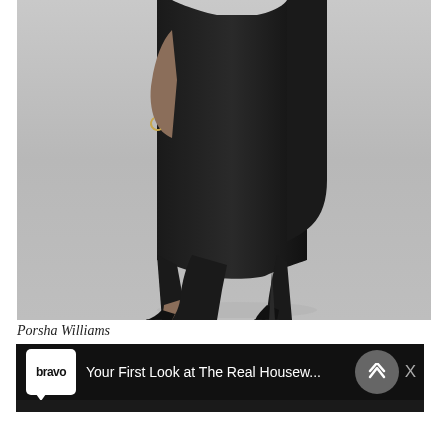[Figure (photo): A woman in a black fitted dress and black strappy high-heeled sandals posing against a light gray background. Only the torso from mid-section down, arms, and legs are visible. She wears a gold bracelet on her wrist.]
Porsha Williams
[Figure (screenshot): A Bravo TV video advertisement bar with a white speech-bubble Bravo logo on the left, white text reading 'Your First Look at The Real Housew...' in the center, an upward chevron inside a gray circle, and an X close button on the right. Below is a partial preview image of the video.]